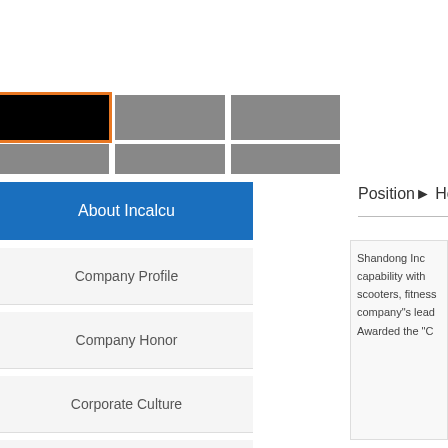[Figure (screenshot): Navigation tab bar with 6 boxes in two rows; the first box in the top row is black with an orange border (active), the rest are grey.]
About Incalcu
Company Profile
Company Honor
Corporate Culture
Enterprise Video (partially visible)
Position▸ Ho
Shandong Inc capability with scooters, fitness company"s lead Awarded the "C